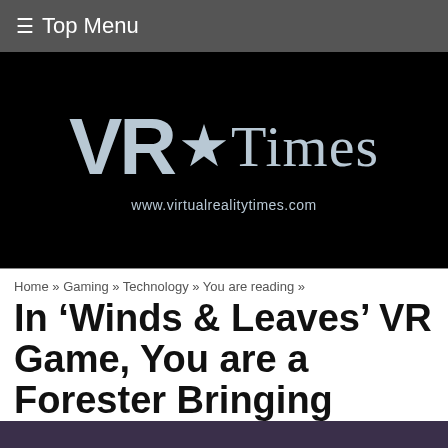≡ Top Menu
[Figure (logo): VR Times logo with stylized VR letters and Gothic 'Times' text, with URL www.virtualrealitytimes.com, on black background]
Home » Gaming » Technology » You are reading »
In 'Winds & Leaves' VR Game, You are a Forester Bringing Back the...